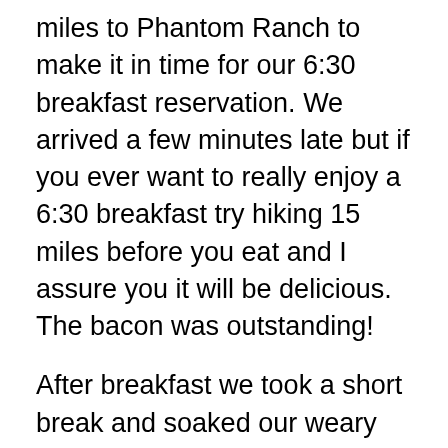miles to Phantom Ranch to make it in time for our 6:30 breakfast reservation. We arrived a few minutes late but if you ever want to really enjoy a 6:30 breakfast try hiking 15 miles before you eat and I assure you it will be delicious. The bacon was outstanding!
After breakfast we took a short break and soaked our weary feet in Kaibab Creek. By this time it was about 8:00 am and the temperature was a balmy 75 degrees, but we knew that soon it would be over 100 and we had better get moving, so we headed across the Colorado River on the suspension bridge